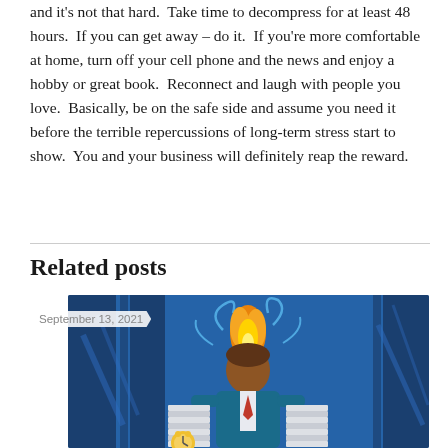and it's not that hard.  Take time to decompress for at least 48 hours.  If you can get away – do it.  If you're more comfortable at home, turn off your cell phone and the news and enjoy a hobby or great book.  Reconnect and laugh with people you love.  Basically, be on the safe side and assume you need it before the terrible repercussions of long-term stress start to show.  You and your business will definitely reap the reward.
Related posts
September 13, 2021
[Figure (illustration): Illustration of a stressed businessman with head on fire, surrounded by stacks of papers, on a blue background]